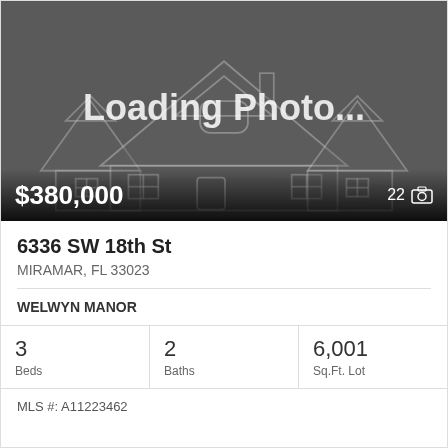[Figure (illustration): Loading Photo placeholder with house outline drawing on dark gray background]
$380,000
22 📷
6336 SW 18th St
MIRAMAR, FL 33023
WELWYN MANOR
3 Beds
2 Baths
6,001 Sq.Ft. Lot
MLS #: A11223462